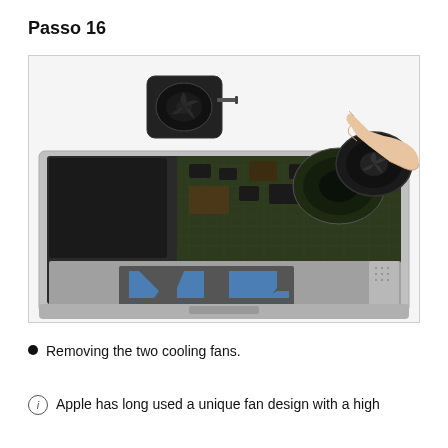Passo 16
[Figure (photo): MacBook opened and disassembled showing the logic board and internal components. A hand is removing a cooling fan (visible in upper right), and a removed fan unit sits in the upper left of the image. The trackpad area is visible at the bottom with blue adhesive pads.]
Removing the two cooling fans.
Apple has long used a unique fan design with a high